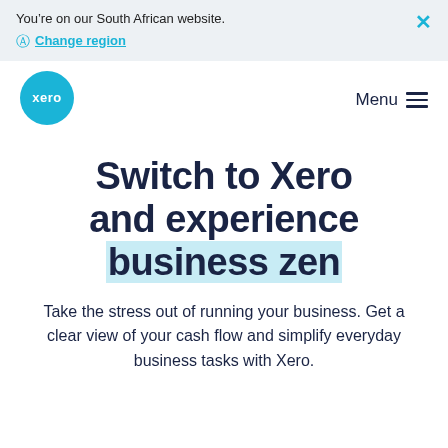You’re on our South African website. Change region
[Figure (logo): Xero logo - cyan circle with white 'xero' text]
Menu
Switch to Xero and experience business zen
Take the stress out of running your business. Get a clear view of your cash flow and simplify everyday business tasks with Xero.